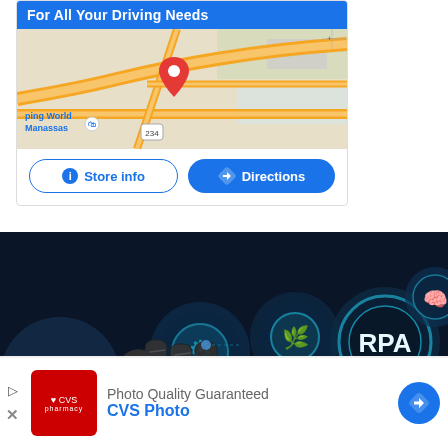[Figure (screenshot): Google Maps store card with blue header 'For All Your Driving Needs', map showing route 234 near Manassas with a red pin, and two buttons: 'Store info' and 'Directions']
[Figure (photo): Robotic hand touching glowing blue circular tech icons including one labeled 'RPA' on a dark background]
[Figure (screenshot): CVS Photo advertisement bar: 'Photo Quality Guaranteed' headline, CVS pharmacy logo, 'CVS Photo' brand name in blue, and a blue directions button]